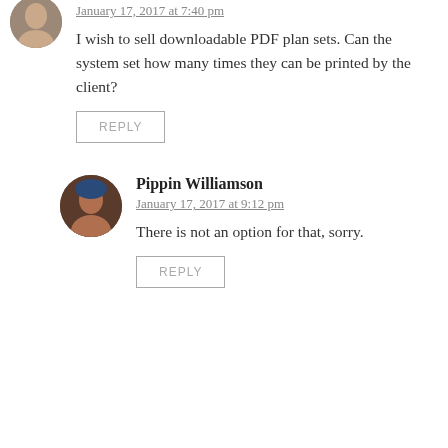January 17, 2017 at 7:40 pm
I wish to sell downloadable PDF plan sets. Can the system set how many times they can be printed by the client?
REPLY
Pippin Williamson
January 17, 2017 at 9:12 pm
There is not an option for that, sorry.
REPLY